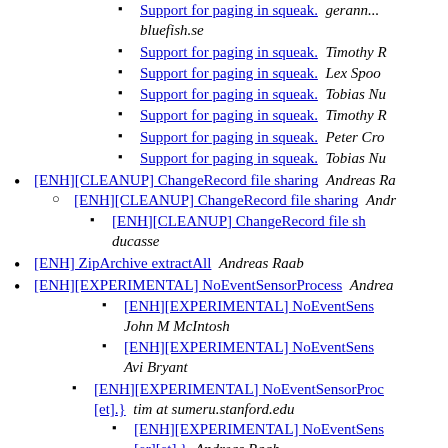Support for paging in squeak. gerann... bluefish.se
Support for paging in squeak. Timothy R
Support for paging in squeak. Lex Spoon
Support for paging in squeak. Tobias Nu
Support for paging in squeak. Timothy R
Support for paging in squeak. Peter Cro
Support for paging in squeak. Tobias Nu
[ENH][CLEANUP] ChangeRecord file sharing Andreas Ra
[ENH][CLEANUP] ChangeRecord file sharing Andr
[ENH][CLEANUP] ChangeRecord file sh ducasse
[ENH] ZipArchive extractAll Andreas Raab
[ENH][EXPERIMENTAL] NoEventSensorProcess Andrea
[ENH][EXPERIMENTAL] NoEventSens John M McIntosh
[ENH][EXPERIMENTAL] NoEventSens Avi Bryant
[ENH][EXPERIMENTAL] NoEventSensorProc [et].} tim at sumeru.stanford.edu
[ENH][EXPERIMENTAL] NoEventSens [er][et].} Andreas Raab
[ENH] PNGReadWriter writing support & alpha fixes Andr
[ENH] PNGReadWriter writing support & alpha fixes Andreas Raab
[ENH] PNGReadWriter writing support &